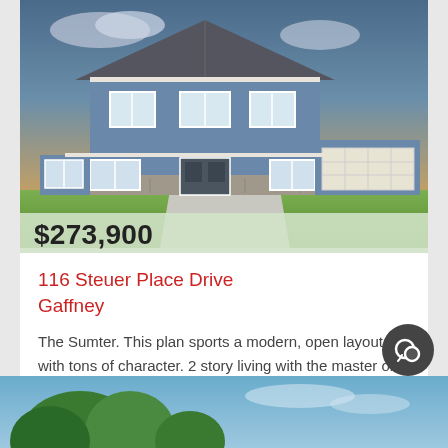[Figure (illustration): 3D rendering of a two-story blue house with gray roof, stone accents, attached double garage, green lawn, orange sunset sky background]
$273,900
116 Steuer Place Drive Gaffney
The Sumter. This plan sports a modern, open layout with tons of character. 2 story living with the master on the 1st floor. The kitchen offers a large island that looks ...
4 BEDS    3 BATHS    292797 MLS
[Figure (photo): Bottom portion of outdoor scene with trees and blue sky]